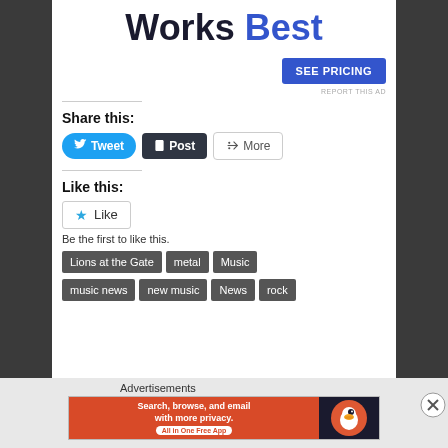Works Best
[Figure (screenshot): SEE PRICING button (blue rounded rectangle)]
REPORT THIS AD
Share this:
[Figure (screenshot): Social share buttons: Tweet, Post, More]
Like this:
[Figure (screenshot): Like button with star icon]
Be the first to like this.
Lions at the Gate
metal
Music
music news
new music
News
rock
Advertisements
[Figure (screenshot): DuckDuckGo advertisement banner: Search, browse, and email with more privacy. All in One Free App]